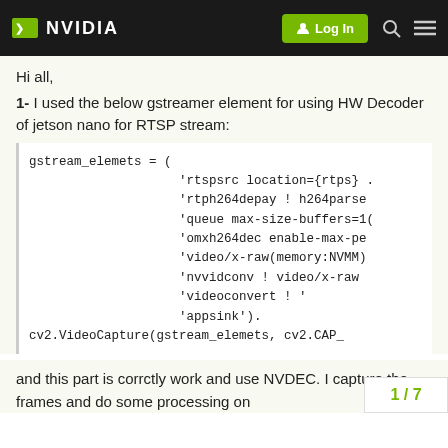NVIDIA | Log In
Hi all,
1- I used the below gstreamer element for using HW Decoder of jetson nano for RTSP stream:
gstream_elemets = (
                    'rtspsrc location={rtps} ...
                    'rtph264depay ! h264parse
                    'queue max-size-buffers=1(
                    'omxh264dec enable-max-pe
                    'video/x-raw(memory:NVMM)
                    'nvvidconv ! video/x-raw
                    'videoconvert ! '
                    'appsink').
cv2.VideoCapture(gstream_elemets, cv2.CAP_
and this part is corrctly work and use NVDEC. I capture the frames and do some processing on